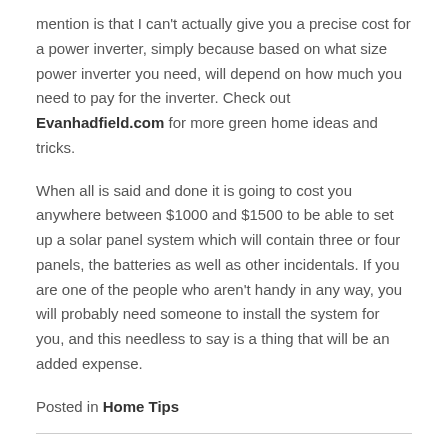mention is that I can't actually give you a precise cost for a power inverter, simply because based on what size power inverter you need, will depend on how much you need to pay for the inverter. Check out Evanhadfield.com for more green home ideas and tricks.
When all is said and done it is going to cost you anywhere between $1000 and $1500 to be able to set up a solar panel system which will contain three or four panels, the batteries as well as other incidentals. If you are one of the people who aren't handy in any way, you will probably need someone to install the system for you, and this needless to say is a thing that will be an added expense.
Posted in Home Tips